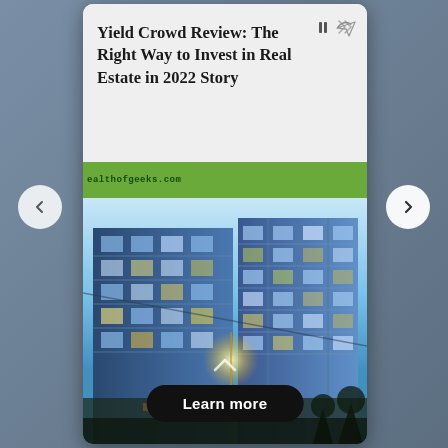Yield Crowd Review: The Right Way to Invest in Real Estate in 2022 Story
wealthofgeeks.com
[Figure (photo): Modern multi-story apartment or condominium building with glass balconies and illuminated windows at dusk, blue sky background, street light flare visible]
Learn more